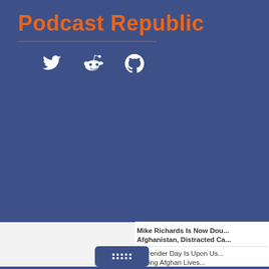Podcast Republic
[Figure (logo): Social media icons: Twitter bird, Reddit alien, GitHub octocat — white icons on blue background]
Mike Richards Is Now Dou... Afghanistan, Distracted Ca...
Surrender Day Is Upon Us... Saving Afghan Lives...